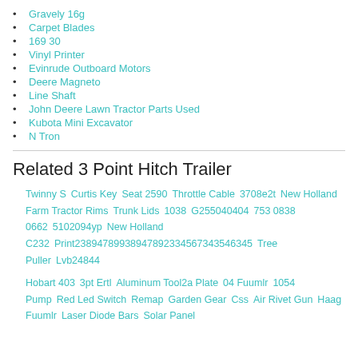Gravely 16g
Carpet Blades
169 30
Vinyl Printer
Evinrude Outboard Motors
Deere Magneto
Line Shaft
John Deere Lawn Tractor Parts Used
Kubota Mini Excavator
N Tron
Related 3 Point Hitch Trailer
Twinny S  Curtis Key  Seat 2590  Throttle Cable  3708e2t  New Holland Farm Tractor Rims  Trunk Lids  1038  G255040404  753 0838 0662  5102094yp  New Holland C232  Print23894789938947892334567343546345  Tree Puller  Lvb24844
Hobart 403  3pt Ertl  Aluminum Tool2a Plate  04 Fuumlr  1054 Pump  Red Led Switch  Remap  Garden Gear  Css  Air Rivet Gun  Haag Fuumlr  Laser Diode Bars  Solar Panel